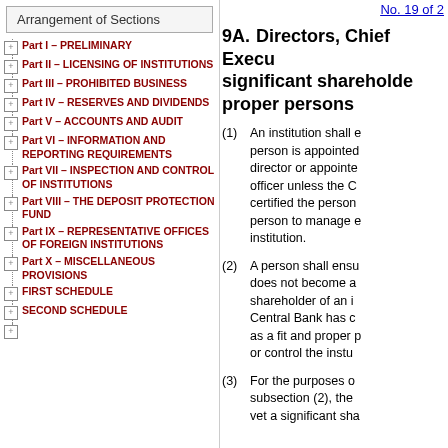Arrangement of Sections
Part I – PRELIMINARY
Part II – LICENSING OF INSTITUTIONS
Part III – PROHIBITED BUSINESS
Part IV – RESERVES AND DIVIDENDS
Part V – ACCOUNTS AND AUDIT
Part VI – INFORMATION AND REPORTING REQUIREMENTS
Part VII – INSPECTION AND CONTROL OF INSTITUTIONS
Part VIII – THE DEPOSIT PROTECTION FUND
Part IX – REPRESENTATIVE OFFICES OF FOREIGN INSTITUTIONS
Part X – MISCELLANEOUS PROVISIONS
FIRST SCHEDULE
SECOND SCHEDULE
No. 19 of 2
9A. Directors, Chief Execu... significant shareholder... proper persons
(1) An institution shall e... person is appointed... director or appointe... officer unless the C... certified the person... person to manage e... institution.
(2) A person shall ensu... does not become a... shareholder of an i... Central Bank has c... as a fit and proper p... or control the insti...
(3) For the purposes o... subsection (2), the... vet a significant sha...